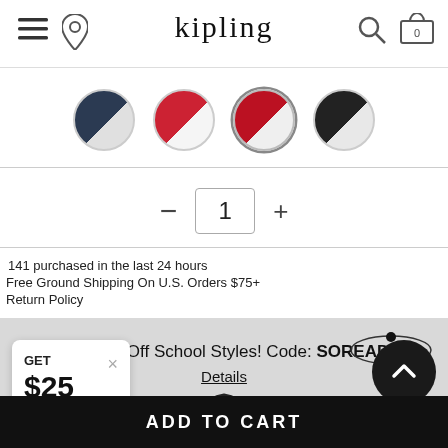[Figure (screenshot): Kipling e-commerce product page screenshot showing navigation header with hamburger menu, location pin, Kipling logo, search icon and cart (0). Below are color swatch circles (navy, red-white, red-white, black-white). A quantity selector with minus, 1, plus. Text: 141 purchased in the last 24 hours. Free Ground Shipping On U.S. Orders $75+. Return Policy. A grey promotional banner: Take 25% Off School Styles! Code: SOREADY with underlined Details link. Lower section shows a GET $25 promo widget, a partial bag product image, a 360-degree view icon, a back-to-top button, and a black ADD TO CART bar at the bottom.]